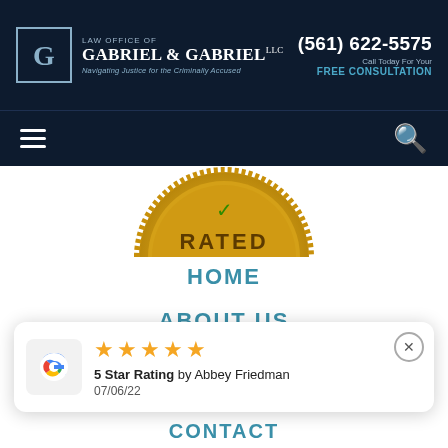LAW OFFICE OF GABRIEL & GABRIEL LLC — Navigating Justice for the Criminally Accused — (561) 622-5575 — Call Today For Your FREE CONSULTATION
[Figure (logo): Gabriel & Gabriel LLC law firm logo with G emblem in bordered box]
[Figure (illustration): Gold 'RATED' seal badge, partially visible at top]
HOME
ABOUT US
PRACTICE AREAS
PAST CASES
MEDIA CENTER
5 Star Rating by Abbey Friedman 07/06/22
CONTACT